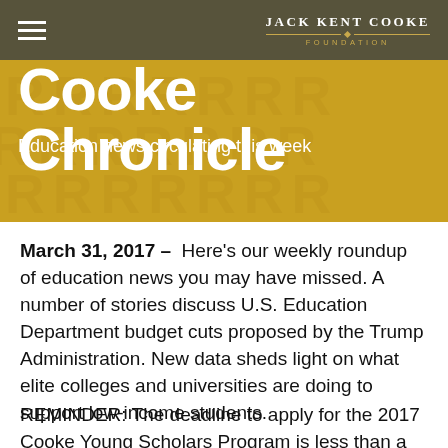Jack Kent Cooke Foundation
[Figure (illustration): Cooke Chronicle banner with gold/yellow background, large white bold title text 'Cooke Chronicle' and subtitle 'Education news circulating this week', with watermark letter pattern]
March 31, 2017 – Here's our weekly roundup of education news you may have missed. A number of stories discuss U.S. Education Department budget cuts proposed by the Trump Administration. New data sheds light on what elite colleges and universities are doing to support low-income students.
REMINDER: The deadline to apply for the 2017 Cooke Young Scholars Program is less than a